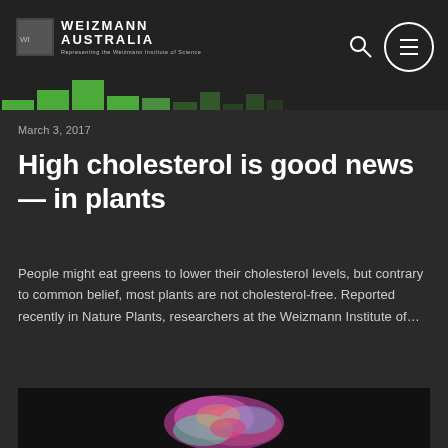[Figure (logo): Weizmann Australia logo with green microscopy image bars in header banner]
March 3, 2017
High cholesterol is good news — in plants
People might eat greens to lower their cholesterol levels, but contrary to common belief, most plants are not cholesterol-free. Reported recently in Nature Plants, researchers at the Weizmann Institute of…
[Figure (photo): Fluorescence microscopy image of a plant cell or organism showing bright multicolor (pink, green, blue) structures on dark background]